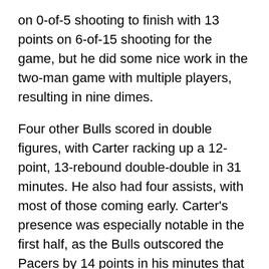on 0-of-5 shooting to finish with 13 points on 6-of-15 shooting for the game, but he did some nice work in the two-man game with multiple players, resulting in nine dimes.
Four other Bulls scored in double figures, with Carter racking up a 12-point, 13-rebound double-double in 31 minutes. He also had four assists, with most of those coming early. Carter's presence was especially notable in the first half, as the Bulls outscored the Pacers by 14 points in his minutes that half. The rookie did take a hard fall in the second half and was grimacing at times after that, but it doesn't seem like there's an issue.
Justin Holiday added 15/6/3 in another stellar 41-minute performance, while Parker had just okay numbers with 12 points on 12 shots plus eight